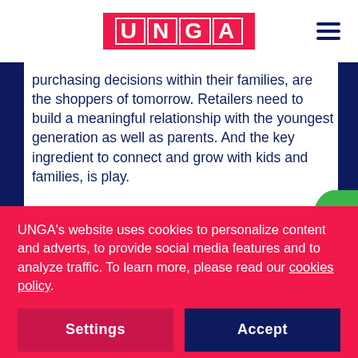UNGA
purchasing decisions within their families, are the shoppers of tomorrow. Retailers need to build a meaningful relationship with the youngest generation as well as parents. And the key ingredient to connect and grow with kids and families, is play.
UNGA's website uses cookies to personalize content and adverts, to provide social media features and to analyze traffic. To learn more, please read our cookies policy.
Settings
Accept